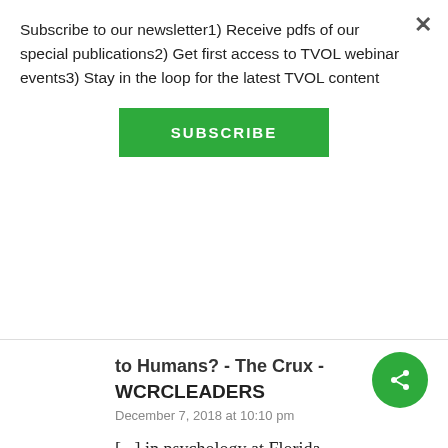Subscribe to our newsletter1) Receive pdfs of our special publications2) Get first access to TVOL webinar events3) Stay in the loop for the latest TVOL content
[Figure (other): Green SUBSCRIBE button]
to Humans? - The Crux -
WCRCLEADERS
December 7, 2018 at 10:10 pm
[...] in psychology at Florida International University, set out to answer. They found that there is flexibility in some of the sex roles